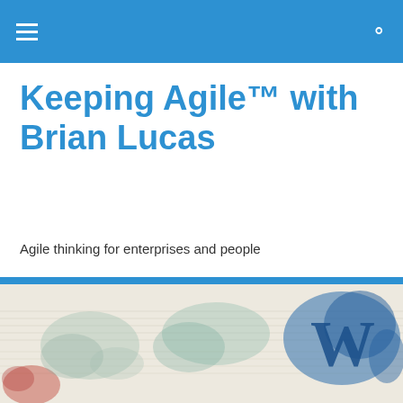Keeping Agile™ with Brian Lucas — navigation header
Keeping Agile™ with Brian Lucas
Agile thinking for enterprises and people
[Figure (illustration): Watercolor splash/blob artwork banner with WordPress logo visible on the right side, over a faint musical staff paper background]
Lack of Agility by CEOs to Blame for Slow Recovery
Follow ...